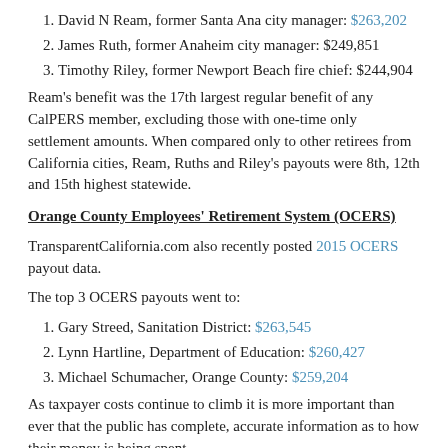David N Ream, former Santa Ana city manager: $263,202
James Ruth, former Anaheim city manager: $249,851
Timothy Riley, former Newport Beach fire chief: $244,904
Ream's benefit was the 17th largest regular benefit of any CalPERS member, excluding those with one-time only settlement amounts. When compared only to other retirees from California cities, Ream, Ruths and Riley's payouts were 8th, 12th and 15th highest statewide.
Orange County Employees' Retirement System (OCERS)
TransparentCalifornia.com also recently posted 2015 OCERS payout data.
The top 3 OCERS payouts went to:
Gary Streed, Sanitation District: $263,545
Lynn Hartline, Department of Education: $260,427
Michael Schumacher, Orange County: $259,204
As taxpayer costs continue to climb it is more important than ever that the public has complete, accurate information as to how their money is being spent.